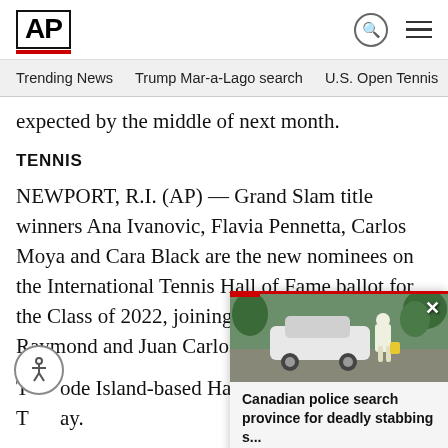AP
Trending News    Trump Mar-a-Lago search    U.S. Open Tennis
expected by the middle of next month.
TENNIS
NEWPORT, R.I. (AP) — Grand Slam title winners Ana Ivanovic, Flavia Pennetta, Carlos Moya and Cara Black are the new nominees on the International Tennis Hall of Fame ballot for the Class of 2022, joining holdovers Lisa Raymond and Juan Carlos Fer...
The Rhode Island-based Hall anno... Tuesday.
The half-dozen nominees all are in... there is no one in the contributor c...
[Figure (photo): Photo of a crime scene with investigators in white protective suits next to a white car, with an overlay popup reading: Canadian police search province for deadly stabbing s...]